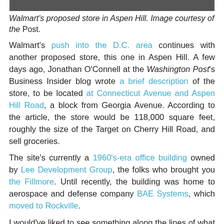[Figure (photo): Top portion of an image showing Walmart's proposed store in Aspen Hill (cropped, mostly dark bar visible at top)]
Walmart's proposed store in Aspen Hill. Image courtesy of the Post.
Walmart's push into the D.C. area continues with another proposed store, this one in Aspen Hill. A few days ago, Jonathan O'Connell at the Washington Post's Business Insider blog wrote a brief description of the store, to be located at Connecticut Avenue and Aspen Hill Road, a block from Georgia Avenue. According to the article, the store would be 118,000 square feet, roughly the size of the Target on Cherry Hill Road, and sell groceries.
The site's currently a 1960's-era office building owned by Lee Development Group, the folks who brought you the Fillmore. Until recently, the building was home to aerospace and defense company BAE Systems, which moved to Rockville.
I would've liked to see something along the lines of what the Planning Department suggested in their 2008 study of the entire Georgia Avenue corridor from downtown Silver Spring